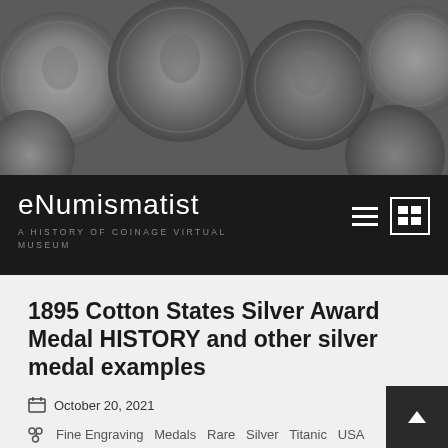[Figure (photo): Header banner photo showing multiple historical silver coins arranged together, various sizes and types, in grayscale tones]
eNumismatist
A HISTORY OF COINAGE VIRTUAL MUSEUM
1895 Cotton States Silver Award Medal HISTORY and other silver medal examples
October 20, 2021
Fine Engraving   Medals   Rare   Silver   Titanic   USA